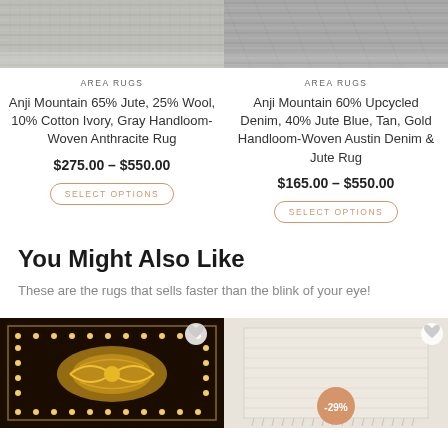[Figure (photo): Partial view of woven rug texture in gray/ivory tones - left product]
[Figure (photo): Partial view of woven rug texture in gray/silver tones - right product]
AREA RUGS
Anji Mountain 65% Jute, 25% Wool, 10% Cotton Ivory, Gray Handloom-Woven Anthracite Rug
$275.00 – $550.00
SELECT OPTIONS
AREA RUGS
Anji Mountain 60% Upcycled Denim, 40% Jute Blue, Tan, Gold Handloom-Woven Austin Denim & Jute Rug
$165.00 – $550.00
SELECT OPTIONS
You Might Also Like
These are the rugs that sells faster than the blink of your eye!
[Figure (photo): Dark ornate rug with golden baroque pattern on black background with decorative light border]
[Figure (photo): Light cream/ivory colored rug with subtle texture, showing -29% discount badge]